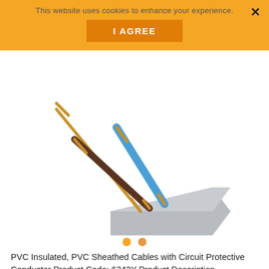This website uses cookies to enhance your experience.
I AGREE
[Figure (photo): Photo of a flat grey PVC sheathed cable with three conductors exposed: a bare copper earth wire, a brown insulated live wire, and a blue insulated neutral wire, fanning out from the grey flat cable sheath.]
PVC Insulated, PVC Sheathed Cables with Circuit Protective Conductor Product Code: 6242Y Product Description Manufactured to BS 6004:2012 Table A Flat twin and earth...